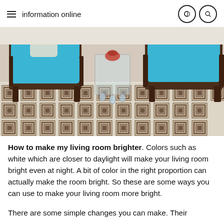information online
[Figure (photo): Interior photo of a living room with two dark-wood rattan chairs with bright blue cushions, a glass side table with crystal pendants, and a black and white geometric Greek key patterned rug/tile floor.]
How to make my living room brighter. Colors such as white which are closer to daylight will make your living room bright even at night. A bit of color in the right proportion can actually make the room bright. So these are some ways you can use to make your living room more bright.
There are some simple changes you can make. Their